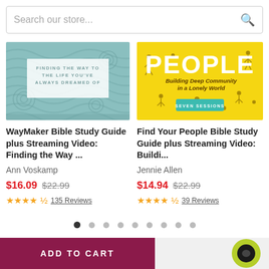[Figure (screenshot): Search bar with placeholder text 'Search our store...' and a magnifying glass icon on the right]
[Figure (illustration): WayMaker Bible Study Guide book cover with teal wavy pattern and text: FINDING THE WAY TO THE LIFE YOU'VE ALWAYS DREAMED OF]
WayMaker Bible Study Guide plus Streaming Video: Finding the Way ...
Ann Voskamp
$16.09  $22.99
135 Reviews
[Figure (illustration): Find Your People Bible Study Guide book cover with yellow background, large white PEOPLE text, small illustrated figures, subtitle 'Building Deep Community in a Lonely World', teal badge 'SEVEN SESSIONS']
Find Your People Bible Study Guide plus Streaming Video: Buildi...
Jennie Allen
$14.94  $22.99
39 Reviews
[Figure (other): Carousel pagination dots - 9 dots, first one filled/dark, rest light gray]
ADD TO CART
[Figure (other): Chat button icon - green circle with dark inner circle]